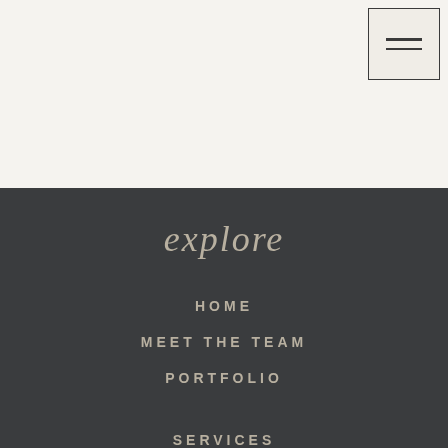[Figure (other): Hamburger menu icon button with two horizontal lines, positioned top right corner on light beige background]
explore
HOME
MEET THE TEAM
PORTFOLIO
SERVICES